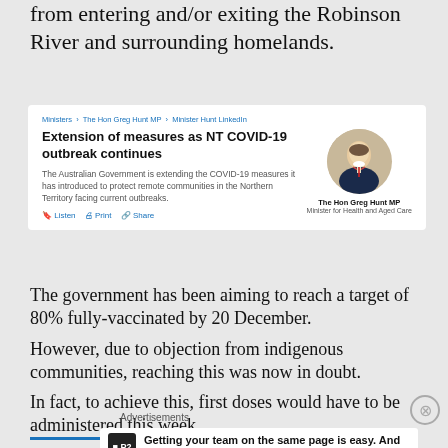from entering and/or exiting the Robinson River and surrounding homelands.
[Figure (screenshot): Screenshot of Australian Government ministerial website card showing 'Extension of measures as NT COVID-19 outbreak continues' with photo of The Hon Greg Hunt MP, Minister for Health and Aged Care.]
The government has been aiming to reach a target of 80% fully-vaccinated by 20 December.
However, due to objection from indigenous communities, reaching this was now in doubt.
In fact, to achieve this, first doses would have to be administered this week.
Advertisements
[Figure (screenshot): Advertisement for P2 product: 'Getting your team on the same page is easy. And free.']